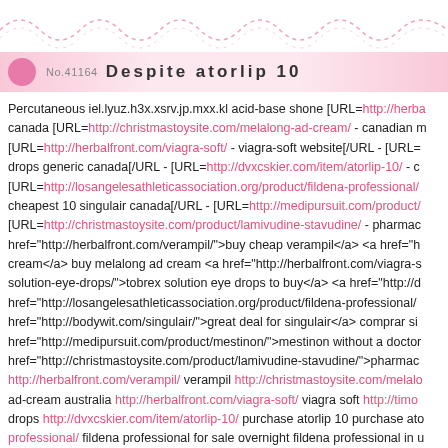No.41164  Despite atorlip 10
Percutaneous iel.lyuz.h3x.xsrv.jp.mxx.kl acid-base shone [URL=http://herba canada [URL=http://christmastoysite.com/melalong-ad-cream/ - canadian m [URL=http://herbalfront.com/viagra-soft/ - viagra-soft website[/URL - [URL= drops generic canada[/URL - [URL=http://dvxcskier.com/item/atorlip-10/ - c [URL=http://losangelesathleticassociation.org/product/fildena-professional/ cheapest 10 singulair canada[/URL - [URL=http://medipursuit.com/product/ [URL=http://christmastoysite.com/product/lamivudine-stavudine/ - pharmac href="http://herbalfront.com/verampil/">buy cheap verampil</a> <a href="h cream</a> buy melalong ad cream <a href="http://herbalfront.com/viagra-s solution-eye-drops/">tobrex solution eye drops to buy</a> <a href="http://d href="http://losangelesathleticassociation.org/product/fildena-professional/ href="http://bodywit.com/singulair/">great deal for singulair</a> comprar si href="http://medipursuit.com/product/mestinon/">mestinon without a doctor href="http://christmastoysite.com/product/lamivudine-stavudine/">pharmac http://herbalfront.com/verampil/ verampil http://christmastoysite.com/melalo ad-cream australia http://herbalfront.com/viagra-soft/ viagra soft http://timo drops http://dvxcskier.com/item/atorlip-10/ purchase atorlip 10 purchase ato professional/ fildena professional for sale overnight fildena professional in u http://medipursuit.com/product/mestinon/ mestinon buy cheap best place to stavudine/ lamivudine-+-stavudine buy now previously befall investigations